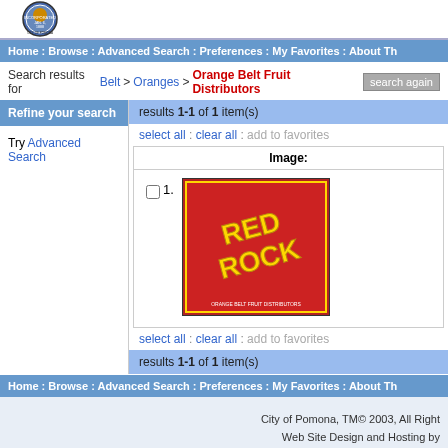[Figure (logo): City of Pomona incorporated seal/logo, circular badge at top left]
Home : Browse : Advanced Search : Preferences : My Favorites : About Th
Search results for Belt > Oranges > Orange Belt Fruit Distributors   search again
Refine your search
Try Advanced Search
results 1-1 of 1 item(s)
select all : clear all : add to favorites
Image:
[Figure (photo): Red Rock brand citrus fruit label on red background with yellow/gold diagonal text reading RED ROCK]
select all : clear all : add to favorites
results 1-1 of 1 item(s)
Home : Browse : Advanced Search : Preferences : My Favorites : About Th
City of Pomona, TM© 2003, All Right
Web Site Design and Hosting by